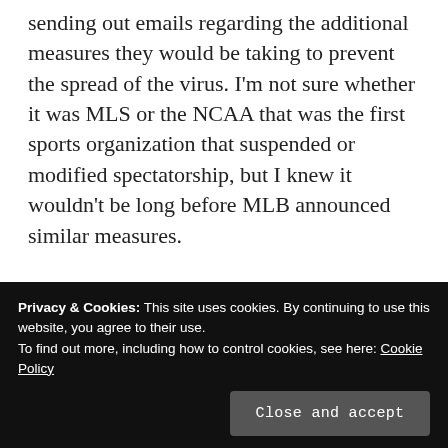sending out emails regarding the additional measures they would be taking to prevent the spread of the virus. I'm not sure whether it was MLS or the NCAA that was the first sports organization that suspended or modified spectatorship, but I knew it wouldn't be long before MLB announced similar measures.
But even when I saw the notification pop up on my phone screen, it didn't make the blow any less devastating.
described as the moment you find out some bad
Privacy & Cookies: This site uses cookies. By continuing to use this website, you agree to their use.
To find out more, including how to control cookies, see here: Cookie Policy
Close and accept